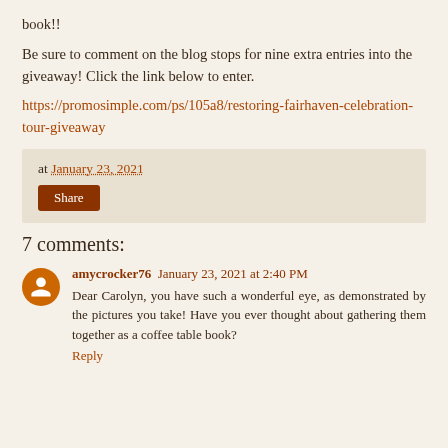book!!
Be sure to comment on the blog stops for nine extra entries into the giveaway! Click the link below to enter.
https://promosimple.com/ps/105a8/restoring-fairhaven-celebration-tour-giveaway
at January 23, 2021
Share
7 comments:
amycrocker76 January 23, 2021 at 2:40 PM
Dear Carolyn, you have such a wonderful eye, as demonstrated by the pictures you take! Have you ever thought about gathering them together as a coffee table book?
Reply